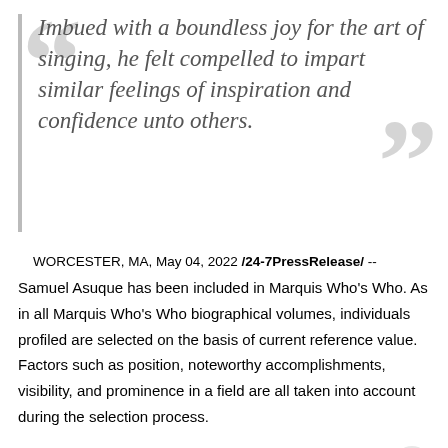Imbued with a boundless joy for the art of singing, he felt compelled to impart similar feelings of inspiration and confidence unto others.
WORCESTER, MA, May 04, 2022 /24-7PressRelease/ -- Samuel Asuque has been included in Marquis Who's Who. As in all Marquis Who's Who biographical volumes, individuals profiled are selected on the basis of current reference value. Factors such as position, noteworthy accomplishments, visibility, and prominence in a field are all taken into account during the selection process.
After attending senior district music festivals around Massachusetts, Mr. Asuque was inspired to pursue a career in music. Imbued with a boundless joy for the art of singing,